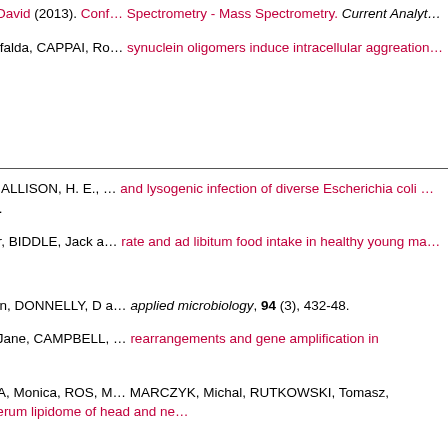ILLES-TOTH, Eva and SMITH, David (2013). Conf... Spectrometry - Mass Spectrometry. Current Analyt...
ILLES-TOTH, Eva, RAMOS, Mafalda, CAPPAI, Ro... synuclein oligomers induce intracellular aggretatio...
J
JAMES, C. E., STANLEY, K. N., ALLISON, H. E., ... and lysogenic infection of diverse Escherichia coli ... microbiology, 67 (9), 4335-4337.
JAMES, Lewis J., MAHER, Tyler, BIDDLE, Jack a... rate and ad libitum food intake in healthy young ma...
JAMES, T C, CAMPBELL, Susan, DONNELLY, D a... applied microbiology, 94 (3), 432-48.
JAMES, Tharappel C, USHER, Jane, CAMPBELL, ... rearrangements and gene amplification in response...
JELONEK, Karol, PIETROWSKA, Monica, ROS, M... MARCZYK, Michal, RUTKOWSKI, Tomasz, SKLAD... induced changes in serum lipidome of head and ne...